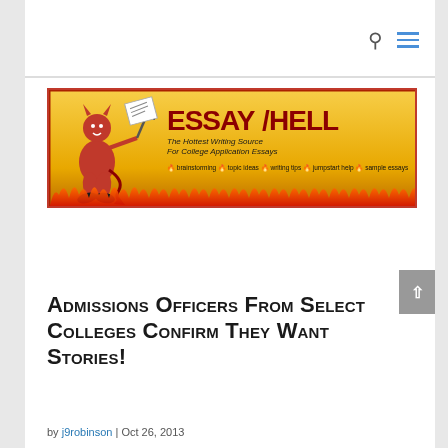[Figure (illustration): Essay Hell banner: yellow/orange background with red devil monkey cartoon character holding a pitchfork and a paper. Large red bold text reads 'ESSAY HELL' with tagline 'The Hottest Writing Source For College Application Essays' and tags: brainstorming, topic ideas, writing tips, jumpstart help, sample essays. Flames along the bottom.]
Admissions Officers From Select Colleges Confirm They Want Stories!
by j9robinson | Oct 26, 2013